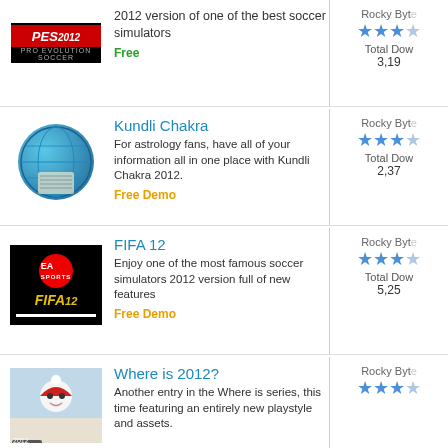PES 2012 - 2012 version of one of the best soccer simulators - Free
Kundli Chakra - For astrology fans, have all of your information all in one place with Kundli Chakra 2012. - Free Demo
FIFA 12 - Enjoy one of the most famous soccer simulators 2012 version full of new features - Free Demo
Where is 2012? - Another entry in the Where is series, this time featuring an entirely new playstyle and assets.